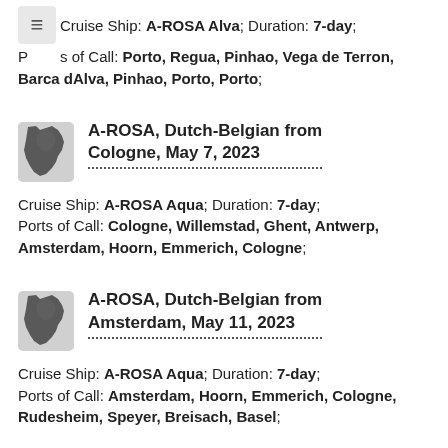Cruise Ship: A-ROSA Alva; Duration: 7-day; Ports of Call: Porto, Regua, Pinhao, Vega de Terron, Barca dAlva, Pinhao, Porto, Porto;
A-ROSA, Dutch-Belgian from Cologne, May 7, 2023
Cruise Ship: A-ROSA Aqua; Duration: 7-day; Ports of Call: Cologne, Willemstad, Ghent, Antwerp, Amsterdam, Hoorn, Emmerich, Cologne;
A-ROSA, Dutch-Belgian from Amsterdam, May 11, 2023
Cruise Ship: A-ROSA Aqua; Duration: 7-day; Ports of Call: Amsterdam, Hoorn, Emmerich, Cologne, Rudesheim, Speyer, Breisach, Basel;